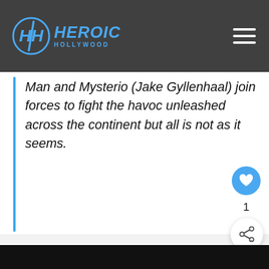HEROIC HOLLYWOOD
Man and Mysterio (Jake Gyllenhaal) join forces to fight the havoc unleashed across the continent but all is not as it seems.